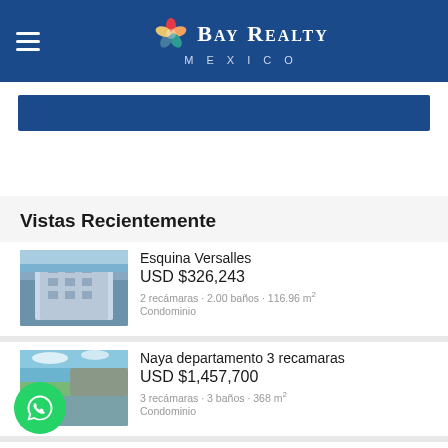Bay Realty Mexico
Vistas Recientemente
Esquina Versalles
USD $326,243
2 recámaras · 2.00 baños · 116.96 m²
Condominio
Naya departamento 3 recamaras
USD $1,457,700
3 recámaras · 3 baños · 368 m²
Condominio
Mangrove Preserve
USD $192,856
1 recámara · 2.00 baños · 85.69 m²